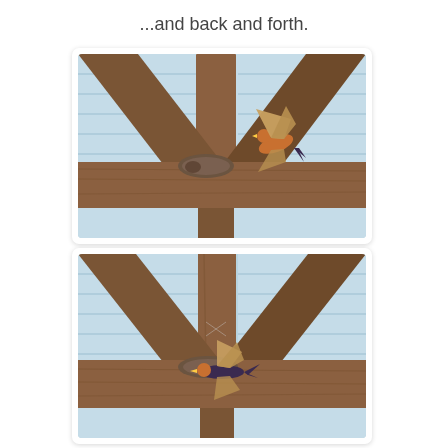...and back and forth.
[Figure (photo): A barn swallow bird in flight approaching a wooden beam junction inside a barn structure, with a mud nest visible on the beam. The background shows light blue corrugated siding.]
[Figure (photo): A barn swallow bird landing or departing from a wooden beam junction inside a barn structure, wings spread, with a mud nest visible on the beam. The background shows light blue corrugated siding.]